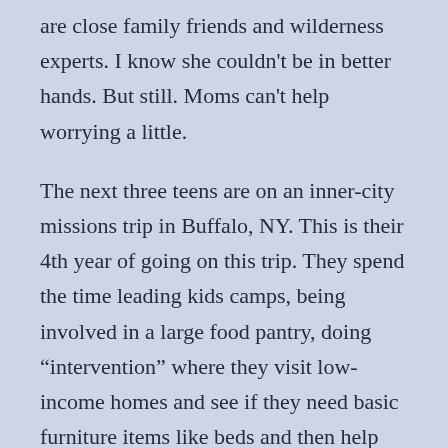are close family friends and wilderness experts. I know she couldn't be in better hands. But still. Moms can't help worrying a little.
The next three teens are on an inner-city missions trip in Buffalo, NY. This is their 4th year of going on this trip. They spend the time leading kids camps, being involved in a large food pantry, doing “intervention” where they visit low-income homes and see if they need basic furniture items like beds and then help deliver the furniture. They are moving from early in the morning till late at night. And my kids love it. Every year when we discuss the summer plans all the kids put the Buffalo Mission Trip as top priority. If I can only do one thing this summer, then I want to go to Buffalo.